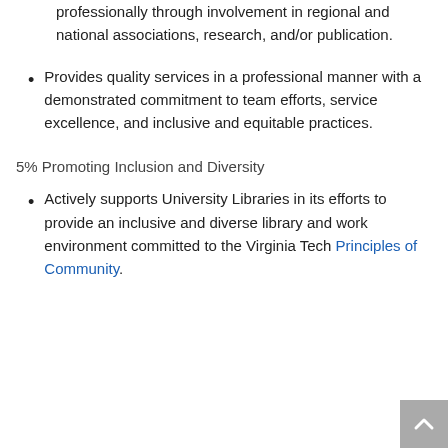professionally through involvement in regional and national associations, research, and/or publication.
Provides quality services in a professional manner with a demonstrated commitment to team efforts, service excellence, and inclusive and equitable practices.
5% Promoting Inclusion and Diversity
Actively supports University Libraries in its efforts to provide an inclusive and diverse library and work environment committed to the Virginia Tech Principles of Community.